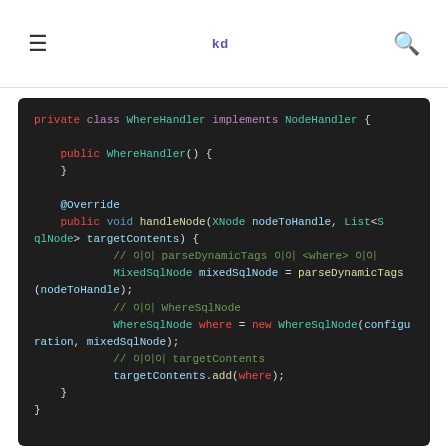≡  kd  🔍
private class WhereHandler implements NodeHandler {

    public WhereHandler() {
    }

    @Override
    public void handleNode(XNode nodeToHandle, List<SqlNode> targetContents) {
            // 이 parseDynamicTags 이 <where> 이이
            MixedSqlNode mixedSqlNode = parseDynamicTags (nodeToHandle);
            // 이이 WhereSqlNode
            WhereSqlNode where = new WhereSqlNode(configuration, mixedSqlNode);
            // 이이이 targetContents
            targetContents.add(where);
    }
}